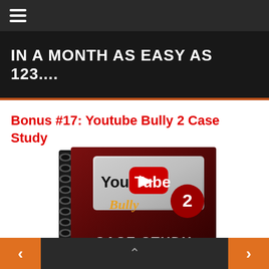Navigation menu bar
[Figure (screenshot): Dark banner with text IN A MONTH AS EASY AS 123.... in white bold uppercase letters on dark background with orange bottom border]
Bonus #17: Youtube Bully 2 Case Study
[Figure (photo): Spiral-bound book with dark red cover showing YouTube Bully 2 Case Study logo and branding]
Navigation bottom bar with left and right arrow buttons